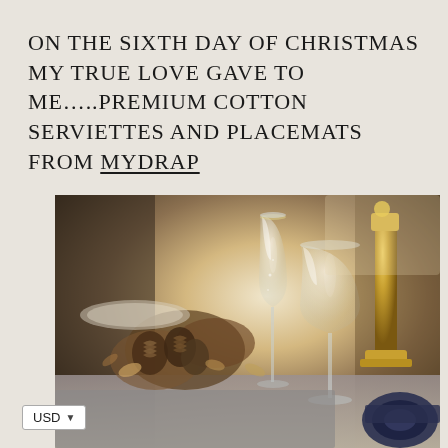ON THE SIXTH DAY OF CHRISTMAS MY TRUE LOVE GAVE TO ME…..PREMIUM COTTON SERVIETTES AND PLACEMATS FROM MYDRAP
[Figure (photo): Christmas table setting with crystal champagne flutes, wine glasses, pine cones, dried flowers, a gold candlestick, and a dark navy ribbon roll on a grey linen placemat]
USD ▾